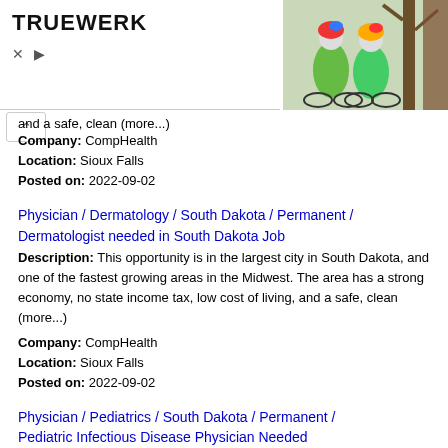[Figure (logo): TRUEWERK logo text in bold black]
[Figure (photo): Two cyclists in green jackets and colorful helmets standing next to bikes outdoors]
and a safe, clean (more...)
Company: CompHealth
Location: Sioux Falls
Posted on: 2022-09-02
Physician / Dermatology / South Dakota / Permanent / Dermatologist needed in South Dakota Job
Description: This opportunity is in the largest city in South Dakota, and one of the fastest growing areas in the Midwest. The area has a strong economy, no state income tax, low cost of living, and a safe, clean (more...)
Company: CompHealth
Location: Sioux Falls
Posted on: 2022-09-02
Physician / Pediatrics / South Dakota / Permanent / Pediatric Infectious Disease Physician Needed
Description: CompHealth has positions that offer a variety of compensation packages and benefits that can be discussed with your consultant to best fit your needs. This opportunity is located in one of the largest (more...)
Company: CompHealth